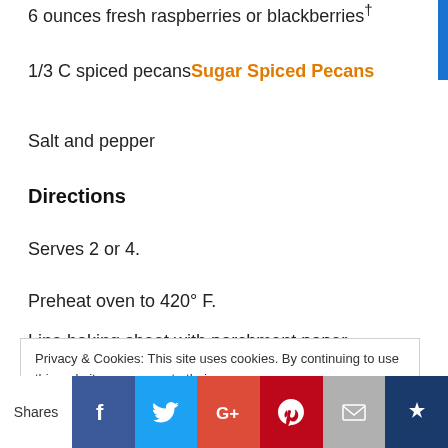6 ounces fresh raspberries or blackberries†
1/3 C spiced pecans Sugar Spiced Pecans
Salt and pepper
Directions
Serves 2 or 4.
Preheat oven to 420° F.
Line baking sheet with parchment paper.
Privacy & Cookies: This site uses cookies. By continuing to use this website, you agree to their use. To find out more, including how to control cookies, see here: Cookie Policy